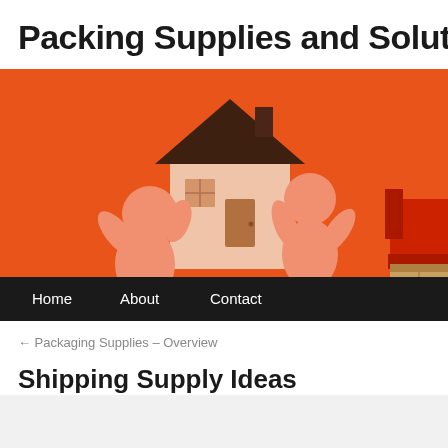Packing Supplies and Solutions
[Figure (illustration): Orange background illustration showing two orange 3D cartoon figures carrying a house, with a red sofa and cardboard box partially visible on the right. Navigation bar at bottom with Home, About, Contact links on dark background.]
← Packaging Supplies – Overview
Shipping Supply Ideas